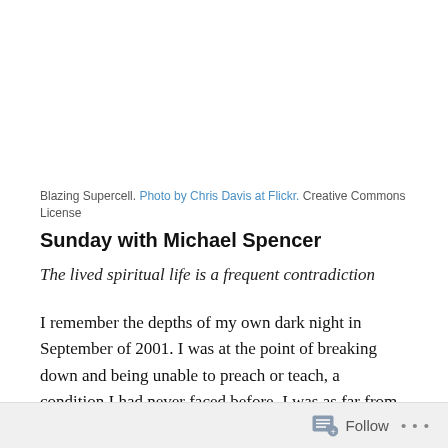Blazing Supercell. Photo by Chris Davis at Flickr. Creative Commons License
Sunday with Michael Spencer
The lived spiritual life is a frequent contradiction
I remember the depths of my own dark night in September of 2001. I was at the point of breaking down and being unable to preach or teach, a condition I had never faced before. I was as far from God as it was
Follow ...